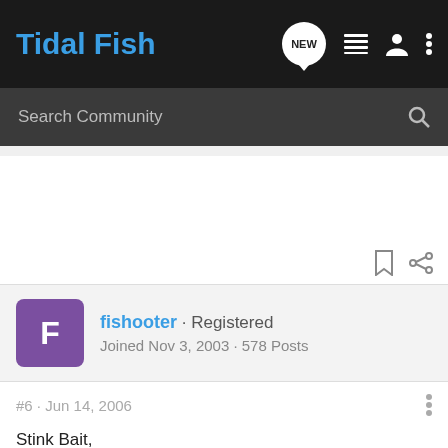Tidal Fish
Search Community
fishooter · Registered
Joined Nov 3, 2003 · 578 Posts
#6 · Jun 14, 2006
Stink Bait,
I will post some pix soon. Just gotta find a time window to do it.
Mark